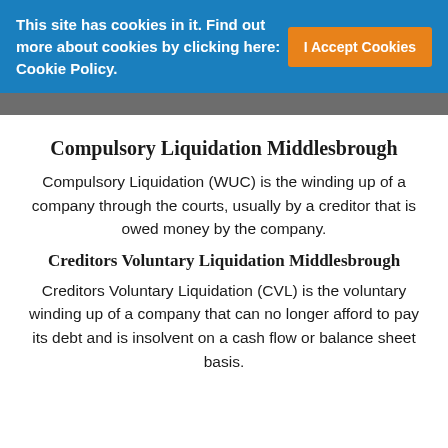This site has cookies in it. Find out more about cookies by clicking here: Cookie Policy.
I Accept Cookies
Compulsory Liquidation Middlesbrough
Compulsory Liquidation (WUC) is the winding up of a company through the courts, usually by a creditor that is owed money by the company.
Creditors Voluntary Liquidation Middlesbrough
Creditors Voluntary Liquidation (CVL) is the voluntary winding up of a company that can no longer afford to pay its debt and is insolvent on a cash flow or balance sheet basis.